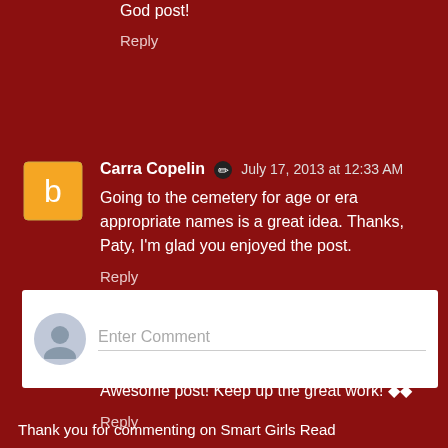God post!
Reply
Carra Copelin  July 17, 2013 at 12:33 AM
Going to the cemetery for age or era appropriate names is a great idea. Thanks, Paty, I'm glad you enjoyed the post.
Reply
imran khan  December 11, 2021 at 1:33 AM
Awesome post! Keep up the great work! ◆◆
Reply
Enter Comment
Thank you for commenting on Smart Girls Read